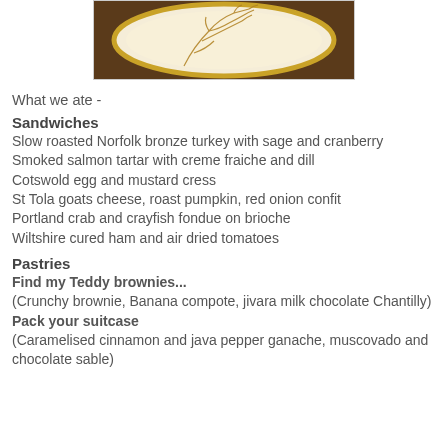[Figure (photo): Close-up photo of a decorative plate with gold rim and branch/tree pattern etched into cream-colored surface, on a dark wooden table background.]
What we ate -
Sandwiches
Slow roasted Norfolk bronze turkey with sage and cranberry
Smoked salmon tartar with creme fraiche and dill
Cotswold egg and mustard cress
St Tola goats cheese, roast pumpkin, red onion confit
Portland crab and crayfish fondue on brioche
Wiltshire cured ham and air dried tomatoes
Pastries
Find my Teddy brownies...
(Crunchy brownie, Banana compote, jivara milk chocolate Chantilly)
Pack your suitcase
(Caramelised cinnamon and java pepper ganache, muscovado and chocolate sable)